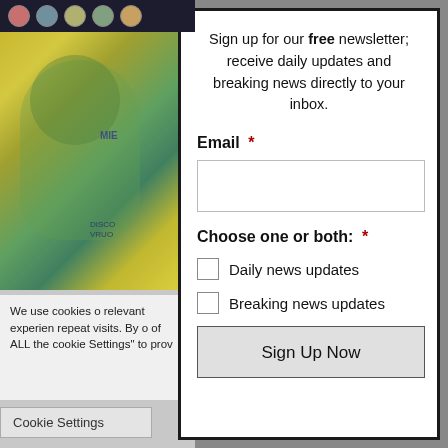[Figure (illustration): Blurred artwork image visible behind an overlay, showing a colorful painted portrait with yellow-green tones and dark border with decorative circles at top. Partially obscured by modal overlay.]
We use cookies o relevant experie repeat visits. By of ALL the cooki Settings" to prov
Cookie Settings
Sign up for our free newsletter; receive daily updates and breaking news directly to your inbox.
Email *
Choose one or both: *
Daily news updates
Breaking news updates
Sign Up Now